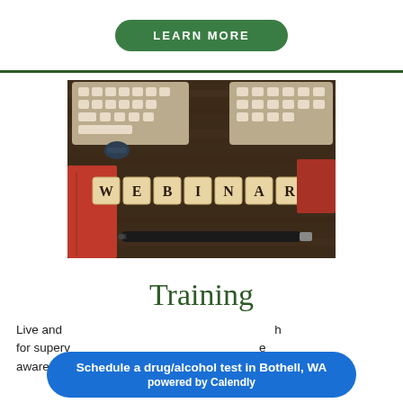LEARN MORE
[Figure (photo): Photo of a wooden desk with Scrabble tiles spelling WEBINAR, keyboards, a pen, binder clips, and a red notebook]
Training
Live and ... for supervisors ... awareness. Customized on-line and live classroom
Schedule a drug/alcohol test in Bothell, WA powered by Calendly